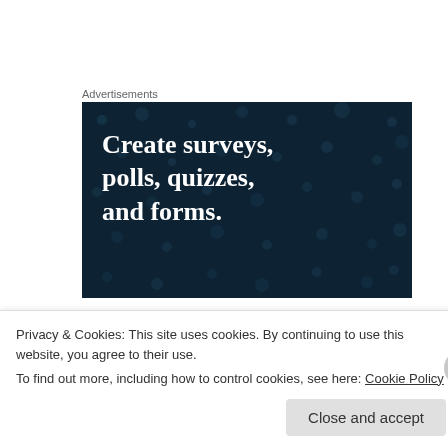Advertisements
[Figure (infographic): Dark navy advertisement banner with white bold text reading 'Create surveys, polls, quizzes, and forms.' with decorative dot pattern background.]
arganesh3 on April 19, 2012 at 4:04 am
Nice! Thanks for liking and following my blog. 😮
Privacy & Cookies: This site uses cookies. By continuing to use this website, you agree to their use.
To find out more, including how to control cookies, see here: Cookie Policy